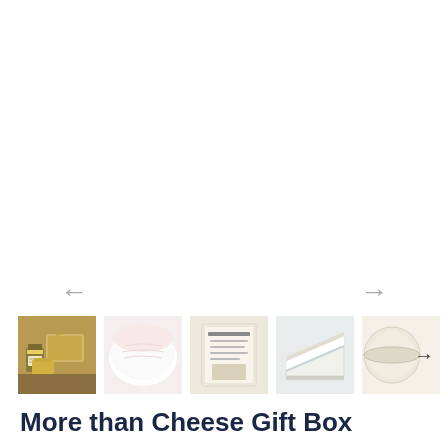[Figure (screenshot): A product image gallery showing 5 thumbnail photos of cheese gift box contents and cheese products. Navigation arrows (left and right) appear above the thumbnails. The first thumbnail shows a cheese gift box with jar and cheese blocks. The second shows soft white cheese wrapped in packaging. The third shows a product label/tag. The fourth shows a wedge of white soft cheese. The fifth thumbnail (partially visible) shows a cheese item with a right arrow indicating more images.]
More than Cheese Gift Box